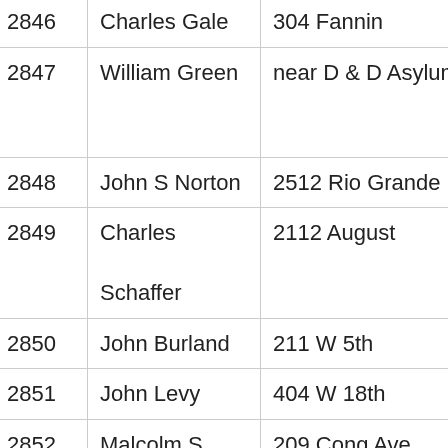| ID | Name | Address | Ward/Unit | Col5 |
| --- | --- | --- | --- | --- |
| 2846 | Charles Gale | 304 Fannin | 1 | W |
| 2847 | William Green | near D & D Asylum | W
11 | C |
| 2848 | John S Norton | 2512 Rio Grande | 6 | W |
| 2849 | Charles Schaffer | 2112 August | 6 | W |
| 2850 | John Burland | 211 W 5th | 1 | W |
| 2851 | John Levy | 404 W 18th | 5 | C |
| 2852 | Malcolm S Dunn | 209 Cong Ave | 10 | W |